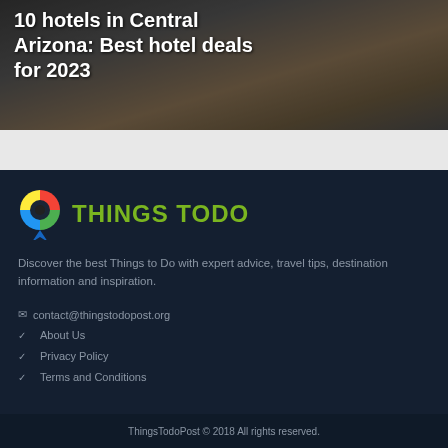[Figure (photo): Hero image of Central Arizona landscape with rocky terrain and dried shrubs, dark overlay with article title]
10 hotels in Central Arizona: Best hotel deals for 2023
[Figure (logo): Things Todo logo with colorful map pin icon and green text THINGS TODO]
Discover the best Things to Do with expert advice, travel tips, destination information and inspiration.
✉ contact@thingstodopost.org
About Us
Privacy Policy
Terms and Conditions
ThingsTodoPost © 2018 All rights reserved.